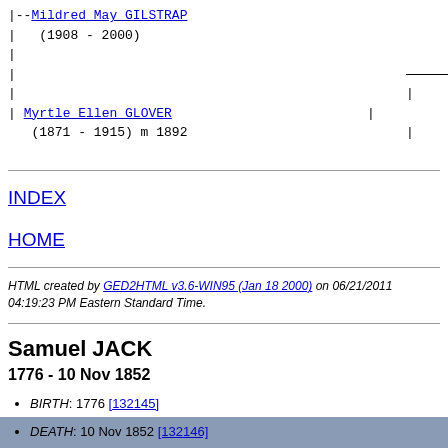|--Mildred May GILSTRAP
|   (1908 - 2000)
|
|
| Myrtle Ellen GLOVER
   (1871 - 1915) m 1892
INDEX
HOME
HTML created by GED2HTML v3.6-WIN95 (Jan 18 2000) on 06/21/2011 04:19:23 PM Eastern Standard Time.
Samuel JACK
1776 - 10 Nov 1852
BIRTH: 1776 [132145]
DEATH: 10 Nov 1852 [132146]
BURIAL: (Unknown), Bethlehem Cemetery, Jackson Township, Washington County, Indiana [132147]